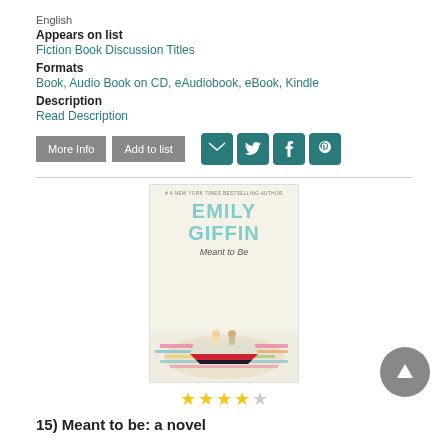English
Appears on list
Fiction Book Discussion Titles
Formats
Book, Audio Book on CD, eAudiobook, eBook, Kindle
Description
Read Description
[Figure (screenshot): Two buttons labeled 'More Info' and 'Add to list', followed by social sharing icons for email, Twitter, Facebook, and Pinterest]
[Figure (photo): Book cover for 'Meant to Be' by Emily Giffin, showing two people on a colorful boat on water, with the author name in teal and the book title below]
[Figure (other): 4 out of 5 stars rating]
15) Meant to be: a novel